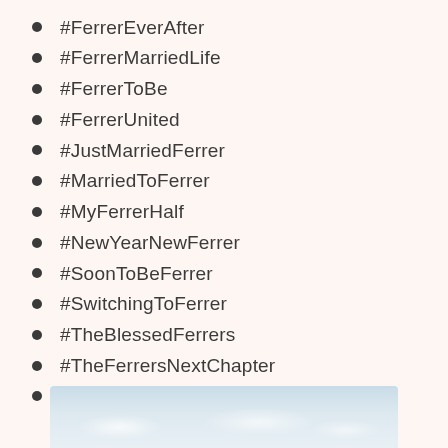#FerrerEverAfter
#FerrerMarriedLife
#FerrerToBe
#FerrerUnited
#JustMarriedFerrer
#MarriedToFerrer
#MyFerrerHalf
#NewYearNewFerrer
#SoonToBeFerrer
#SwitchingToFerrer
#TheBlessedFerrers
#TheFerrersNextChapter
#ToHaveAndToFerrer
[Figure (photo): Sky with clouds, partial view at bottom of page]